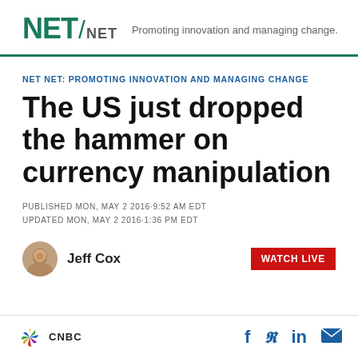[Figure (logo): NET/NET logo with tagline 'Promoting innovation and managing change.']
NET NET: PROMOTING INNOVATION AND MANAGING CHANGE
The US just dropped the hammer on currency manipulation
PUBLISHED MON, MAY 2 2016·9:52 AM EDT
UPDATED MON, MAY 2 2016·1:36 PM EDT
Jeff Cox
CNBC | social icons: f, twitter, in, mail